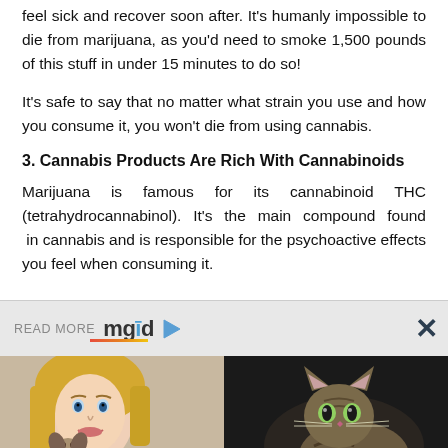feel sick and recover soon after. It's humanly impossible to die from marijuana, as you'd need to smoke 1,500 pounds of this stuff in under 15 minutes to do so!
It's safe to say that no matter what strain you use and how you consume it, you won't die from using cannabis.
3. Cannabis Products Are Rich With Cannabinoids
Marijuana is famous for its cannabinoid THC (tetrahydrocannabinol). It's the main compound found in cannabis and is responsible for the psychoactive effects you feel when consuming it.
[Figure (infographic): READ MORE mgid advertisement strip with close button (X) and two thumbnail images below: a woman with blonde hair holding a dog on the left, and a cat on the right]